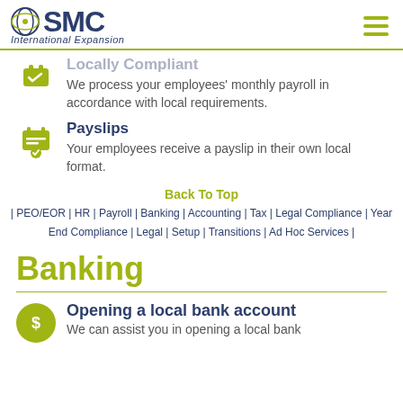SMC International Expansion
We process your employees' monthly payroll in accordance with local requirements.
Payslips
Your employees receive a payslip in their own local format.
Back To Top
| PEO/EOR | HR | Payroll | Banking | Accounting | Tax | Legal Compliance | Year End Compliance | Legal | Setup | Transitions | Ad Hoc Services |
Banking
Opening a local bank account
We can assist you in opening a local bank